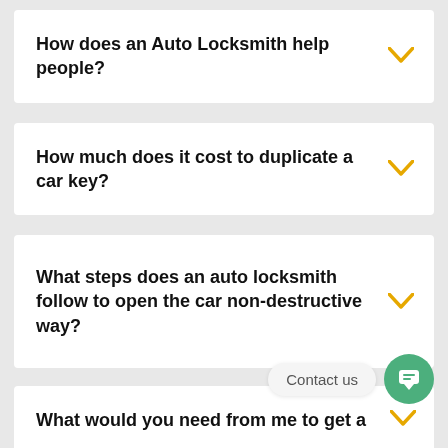How does an Auto Locksmith help people?
How much does it cost to duplicate a car key?
What steps does an auto locksmith follow to open the car non-destructive way?
What would you need from me to get a